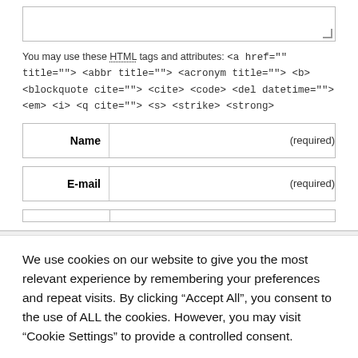You may use these HTML tags and attributes: <a href="" title=""> <abbr title=""> <acronym title=""> <b> <blockquote cite=""> <cite> <code> <del datetime=""> <em> <i> <q cite=""> <s> <strike> <strong>
| Name |  | (required) |
| --- | --- | --- |
| E-mail |  | (required) |
We use cookies on our website to give you the most relevant experience by remembering your preferences and repeat visits. By clicking “Accept All”, you consent to the use of ALL the cookies. However, you may visit "Cookie Settings" to provide a controlled consent.
Cookie Settings | Accept All